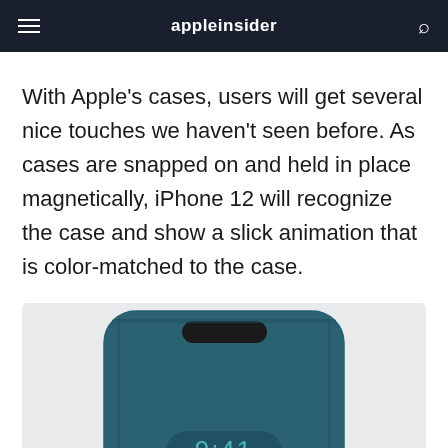appleinsider
With Apple's cases, users will get several nice touches we haven't seen before. As cases are snapped on and held in place magnetically, iPhone 12 will recognize the case and show a slick animation that is color-matched to the case.
[Figure (photo): iPhone 12 inside a teal/dark blue leather flip case showing the back of the case. The case has a cutout at the top revealing the phone's camera area, and a small window showing '9:41' time display on the phone screen.]